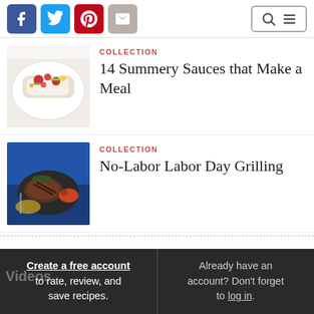[Figure (screenshot): Social media share icons: Facebook (blue), Twitter (light blue), Pinterest (red), Email (grey), plus search and menu icons on the right]
[Figure (photo): Grilled white fish topped with colorful tomato-corn salsa on a white plate]
COLLECTION
14 Summery Sauces that Make a Meal
[Figure (photo): Grilled steak and vegetables on a dark blue plate on a blue surface]
COLLECTION
No-Labor Labor Day Grilling
Create a free account to rate, review, and save recipes.
Already have an account? Don't forget to log in.